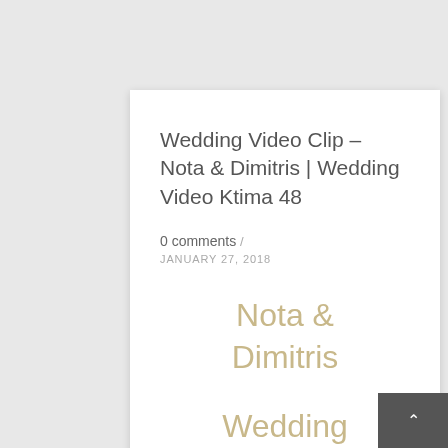Wedding Video Clip – Nota & Dimitris | Wedding Video Ktima 48
0 comments / JANUARY 27, 2018
Nota & Dimitris
Wedding Video Ktima 48